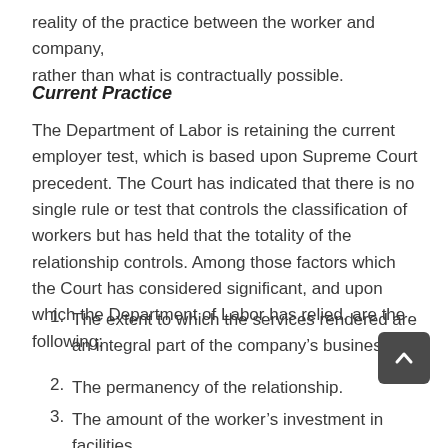reality of the practice between the worker and company, rather than what is contractually possible.
Current Practice
The Department of Labor is retaining the current employer test, which is based upon Supreme Court precedent. The Court has indicated that there is no single rule or test that controls the classification of workers but has held that the totality of the relationship controls. Among those factors which the Court has considered significant, and upon which the Department of Labor has relied, are the following:
The extent to which the services rendered are an integral part of the company’s business.
The permanency of the relationship.
The amount of the worker’s investment in facilities and equipment.